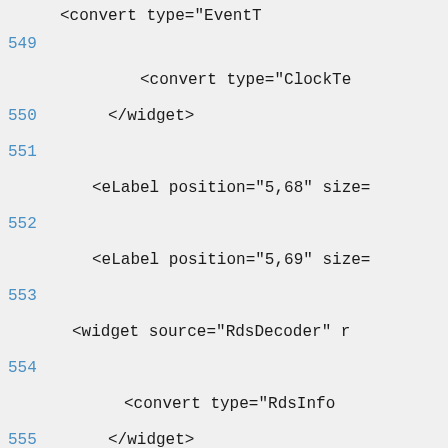<convert type="EventT
549
<convert type="ClockTe
550
</widget>
551
<eLabel position="5,68" size=
552
<eLabel position="5,69" size=
553
<widget source="RdsDecoder" r
554
<convert type="RdsInfo
555
</widget>
556
</screen>
557
<!-- RASS -->
558
<screen name="RassInteractive" positi
559
<ePixmap pixmap="rass_logo.pn
560